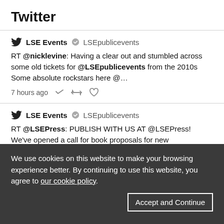Twitter
LSE Events ✓ LSEpublicevents
RT @nicklevine: Having a clear out and stumbled across some old tickets for @LSEpublicevents from the 2010s Some absolute rockstars here @...
7 hours ago
LSE Events ✓ LSEpublicevents
RT @LSEPress: PUBLISH WITH US AT @LSEPress! We've opened a call for book proposals for new #openaccess titles to publish in 2023 & beyond.
We use cookies on this website to make your browsing experience better. By continuing to use this website, you agree to our cookie policy.